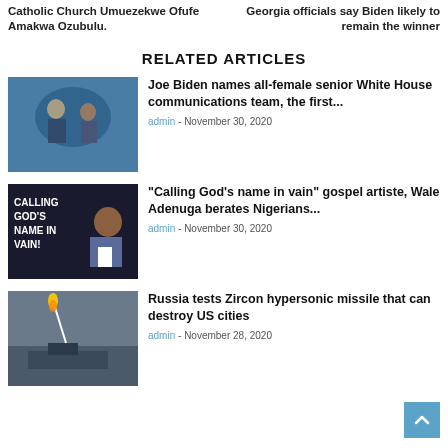Catholic Church Umuezekwe Ofufe Amakwa Ozubulu.
Georgia officials say Biden likely to remain the winner
RELATED ARTICLES
[Figure (photo): Joe Biden and Kamala Harris facing each other on stage with blue background]
Joe Biden names all-female senior White House communications team, the first...
admin - November 30, 2020
[Figure (photo): Text image reading 'CALLING GOD'S NAME IN VAIN!' with a man in a suit]
"Calling God's name in vain" gospel artiste, Wale Adenuga berates Nigerians...
admin - November 30, 2020
[Figure (photo): Ship at sea launching a missile at night]
Russia tests Zircon hypersonic missile that can destroy US cities
admin - November 28, 2020